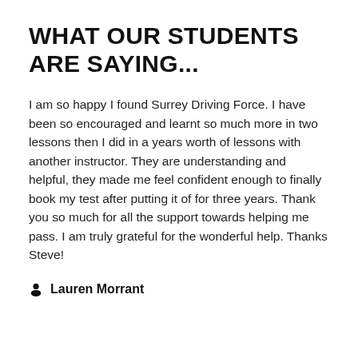WHAT OUR STUDENTS ARE SAYING...
I am so happy I found Surrey Driving Force. I have been so encouraged and learnt so much more in two lessons then I did in a years worth of lessons with another instructor. They are understanding and helpful, they made me feel confident enough to finally book my test after putting it of for three years. Thank you so much for all the support towards helping me pass. I am truly grateful for the wonderful help. Thanks Steve!
Lauren Morrant